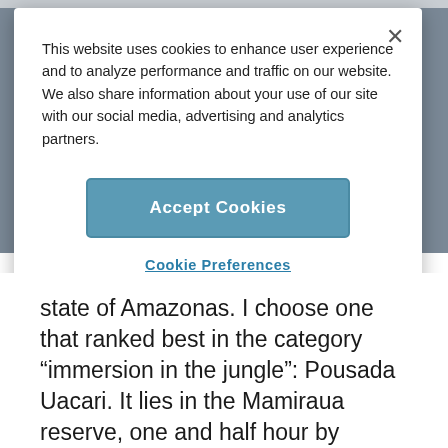This website uses cookies to enhance user experience and to analyze performance and traffic on our website. We also share information about your use of our site with our social media, advertising and analytics partners.
Accept Cookies
Cookie Preferences
state of Amazonas. I choose one that ranked best in the category “immersion in the jungle”: Pousada Uacari. It lies in the Mamiraua reserve, one and half hour by